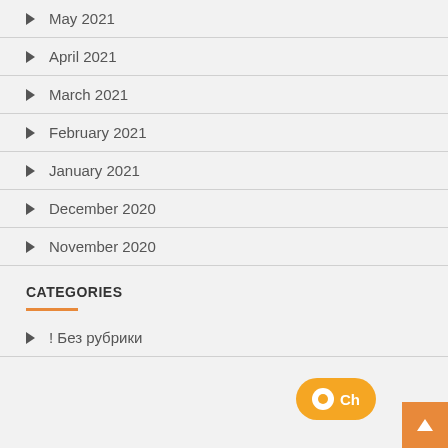May 2021
April 2021
March 2021
February 2021
January 2021
December 2020
November 2020
CATEGORIES
! Без рубрики